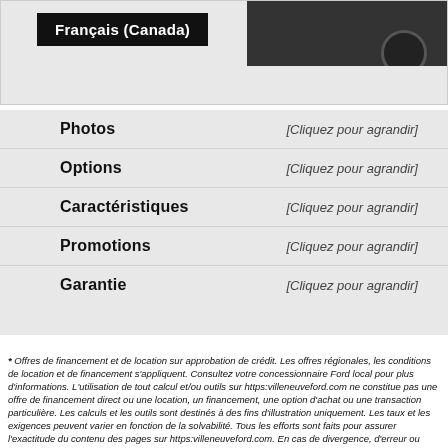[Figure (photo): Car dealer website screenshot showing a vehicle image partially visible with a black banner overlay]
Français (Canada)
Photos [Cliquez pour agrandir]
Options [Cliquez pour agrandir]
Caractéristiques [Cliquez pour agrandir]
Promotions [Cliquez pour agrandir]
Garantie [Cliquez pour agrandir]
* Offres de financement et de location sur approbation de crédit. Les offres régionales, les conditions de location et de financement s'appliquent. Consultez votre concessionnaire Ford local pour plus d'informations. L'utilisation de tout calcul et/ou outils sur https:villeneuveford.com ne constitue pas une offre de financement direct ou une location, un financement, une option d'achat ou une transaction particulière. Les calculs et les outils sont destinés à des fins d'illustration uniquement. Les taux et les exigences peuvent varier en fonction de la solvabilité. Tous les efforts sont faits pour assurer l'exactitude du contenu des pages sur https:villeneuveford.com. En cas de divergence, d'erreur ou d'omission, les prix, les offres et les caractéristiques des véhicules, tels